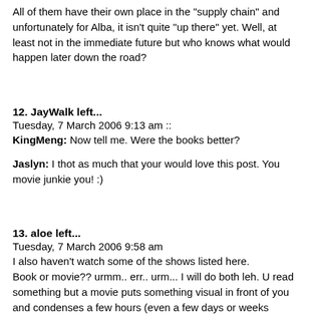All of them have their own place in the "supply chain" and unfortunately for Alba, it isn't quite "up there" yet. Well, at least not in the immediate future but who knows what would happen later down the road?
12. JayWalk left...
Tuesday, 7 March 2006 9:13 am ::
KingMeng: Now tell me. Were the books better?
Jaslyn: I thot as much that your would love this post. You movie junkie you! :)
13. aloe left...
Tuesday, 7 March 2006 9:58 am
I also haven't watch some of the shows listed here.
Book or movie?? urmm.. err.. urm... I will do both leh. U read something but a movie puts something visual in front of you and condenses a few hours (even a few days or weeks sometimes!) reading into 2 to 3 hours. I guess I would chose reading bah. More in depth, more description. But it's always